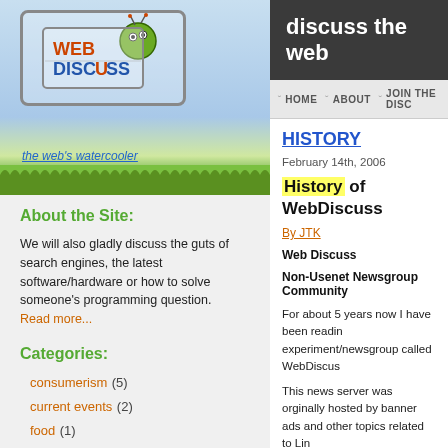[Figure (logo): WebDiscuss logo with cartoon bug/robot character, text 'WEB DISCUSS' and tagline 'the web's watercooler', with grass/sky background]
About the Site:
We will also gladly discuss the guts of search engines, the latest software/hardware or how to solve someone's programming question.
Read more...
Categories:
consumerism (5)
current events (2)
food (1)
random (4)
reviews (1)
web development (5)
discuss the web
HOME  ABOUT  JOIN THE DISC
HISTORY
February 14th, 2006
History of WebDiscuss
By JTK
Web Discuss
Non-Usenet Newsgroup Community
For about 5 years now I have been readin experiment/newsgroup called WebDiscus
This news server was orginally hosted by banner ads and other topics related to Lin
Somewhere along the line the discussion retentive types who wanted us to stay on become a forum for free speech.